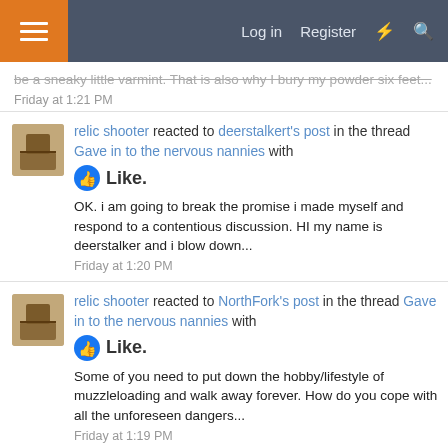Log in  Register
be a sneaky little varmint. That is also why I bury my powder six feet...
Friday at 1:21 PM
relic shooter reacted to deerstalkert's post in the thread Gave in to the nervous nannies with Like.
OK. i am going to break the promise i made myself and respond to a contentious discussion. HI my name is deerstalker and i blow down...
Friday at 1:20 PM
relic shooter reacted to NorthFork's post in the thread Gave in to the nervous nannies with Like.
Some of you need to put down the hobby/lifestyle of muzzleloading and walk away forever. How do you cope with all the unforeseen dangers...
Friday at 1:19 PM